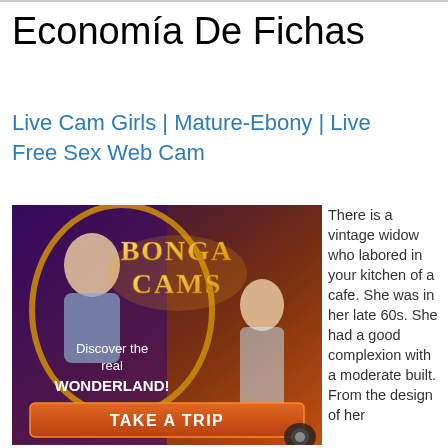Economía De Fichas
Live Cam Girls | Mature-Ebony | Live Free Sex Web Cam
[Figure (illustration): Advertisement banner for BongaCams showing 'Discover the real WONDERLAND!' with a 'TAKE A TRIP' button]
There is a vintage widow who labored in your kitchen of a cafe. She was in her late 60s. She had a good complexion with a moderate built. From the design of her